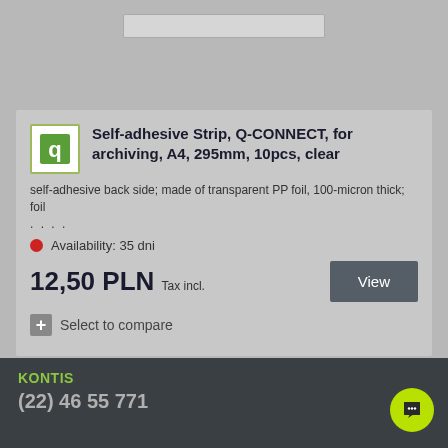[Figure (screenshot): Search bar at top of page, partially visible]
Self-adhesive Strip, Q-CONNECT, for archiving, A4, 295mm, 10pcs, clear
self-adhesive back side; made of transparent PP foil, 100-micron thick; foil ....
Availability: 35 dni
12,50 PLN Tax incl.
View
+ Select to compare
Compare (0)
KONTIS
(22) 46 55 771